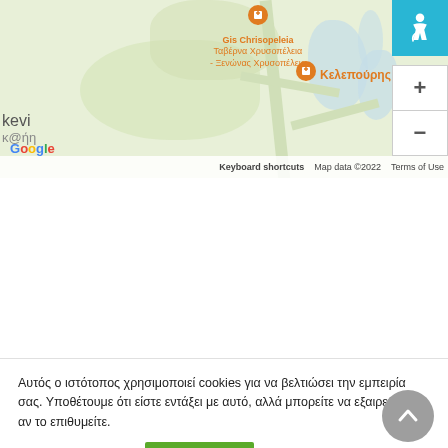[Figure (map): Google Maps screenshot showing a satellite/terrain map with two restaurant pins labeled 'Gis Chrisopeleia' (Ταβέρνα Χρυσοπέλεια - Ξενώνας Χρυσοπέλεια) and 'Κελεπούρης ταβέρνα', along with map controls including accessibility icon, zoom in (+) and zoom out (-) buttons, and bottom bar with 'Keyboard shortcuts', 'Map data ©2022', and 'Terms of Use'.]
Αυτός ο ιστότοπος χρησιμοποιεί cookies για να βελτιώσει την εμπειρία σας. Υποθέτουμε ότι είστε εντάξει με αυτό, αλλά μπορείτε να εξαιρεθείτε αν το επιθυμείτε.
Ρυθμίσεις Cookies
ΑΠΟΔΟΧΗ